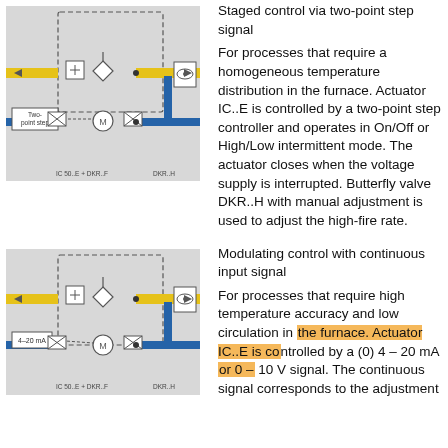[Figure (schematic): Schematic diagram of staged control via two-point step signal system with IC 50.E + DKR.F and DKR.H components, showing yellow and blue pipes with valves and motor actuator labeled 'Two-point step']
Staged control via two-point step signal
For processes that require a homogeneous temperature distribution in the furnace. Actuator IC..E is controlled by a two-point step controller and operates in On/Off or High/Low intermittent mode. The actuator closes when the voltage supply is interrupted. Butterfly valve DKR..H with manual adjustment is used to adjust the high-fire rate.
[Figure (schematic): Schematic diagram of modulating control with continuous input signal system with IC 50.E + DKR.F and DKR.H components, labeled '4-20 mA']
Modulating control with continuous input signal
For processes that require high temperature accuracy and low circulation in the furnace. Actuator IC..E is controlled by a (0) 4 – 20 mA or 0 – 10 V signal. The continuous signal corresponds to the adjustment